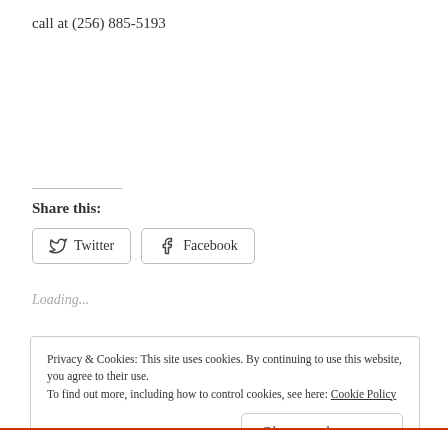call at (256) 885-5193
Share this:
[Figure (other): Twitter and Facebook share buttons]
Loading...
Privacy & Cookies: This site uses cookies. By continuing to use this website, you agree to their use.
To find out more, including how to control cookies, see here: Cookie Policy
Close and accept